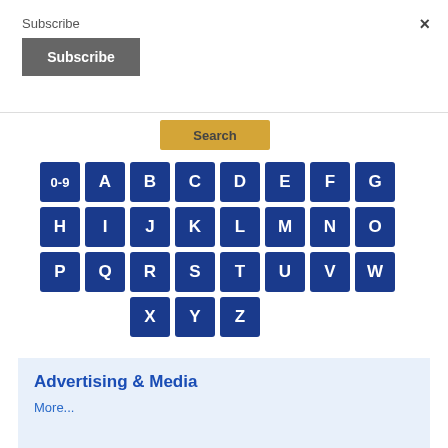Subscribe
Subscribe
×
Search
[Figure (other): Alphabetical navigation tiles grid: 0-9, A through Z letters as dark blue square buttons arranged in 4 rows]
Advertising & Media
More...